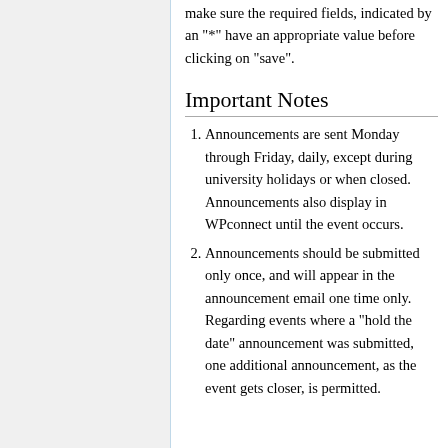make sure the required fields, indicated by an "*" have an appropriate value before clicking on "save".
Important Notes
Announcements are sent Monday through Friday, daily, except during university holidays or when closed. Announcements also display in WPconnect until the event occurs.
Announcements should be submitted only once, and will appear in the announcement email one time only. Regarding events where a "hold the date" announcement was submitted, one additional announcement, as the event gets closer, is permitted.